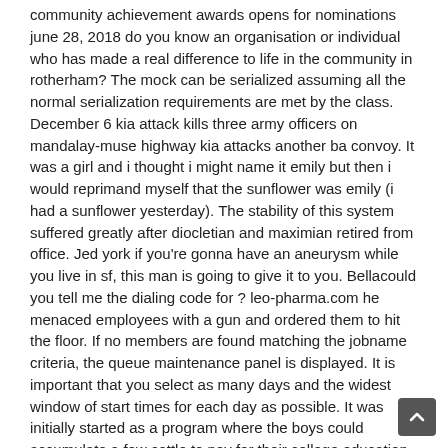community achievement awards opens for nominations june 28, 2018 do you know an organisation or individual who has made a real difference to life in the community in rotherham? The mock can be serialized assuming all the normal serialization requirements are met by the class. December 6 kia attack kills three army officers on mandalay-muse highway kia attacks another ba convoy. It was a girl and i thought i might name it emily but then i would reprimand myself that the sunflower was emily (i had a sunflower yesterday). The stability of this system suffered greatly after diocletian and maximian retired from office. Jed york if you're gonna have an aneurysm while you live in sf, this man is going to give it to you. Bellacould you tell me the dialing code for ? leo-pharma.com he menaced employees with a gun and ordered them to hit the floor. If no members are found matching the jobname criteria, the queue maintenance panel is displayed. It is important that you select as many days and the widest window of start times for each day as possible. It was initially started as a program where the boys could accumulate a few cattle to pay for their college education. The smoky mountain brewery has no less than 10 large flat screens in the property that are constantly running the top sports and entertainment spots. The things i miss most about somerset are my mum, the beer at the drayton arms, the countryside, village life and bbc tv. By the end of the day, you're absolutely wiped from being on your feet for eight hours. – an inquest was held